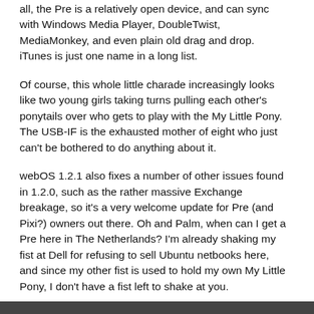all, the Pre is a relatively open device, and can sync with Windows Media Player, DoubleTwist, MediaMonkey, and even plain old drag and drop. iTunes is just one name in a long list.
Of course, this whole little charade increasingly looks like two young girls taking turns pulling each other's ponytails over who gets to play with the My Little Pony. The USB-IF is the exhausted mother of eight who just can't be bothered to do anything about it.
webOS 1.2.1 also fixes a number of other issues found in 1.2.0, such as the rather massive Exchange breakage, so it's a very welcome update for Pre (and Pixi?) owners out there. Oh and Palm, when can I get a Pre here in The Netherlands? I'm already shaking my fist at Dell for refusing to sell Ubuntu netbooks here, and since my other fist is used to hold my own My Little Pony, I don't have a fist left to shake at you.